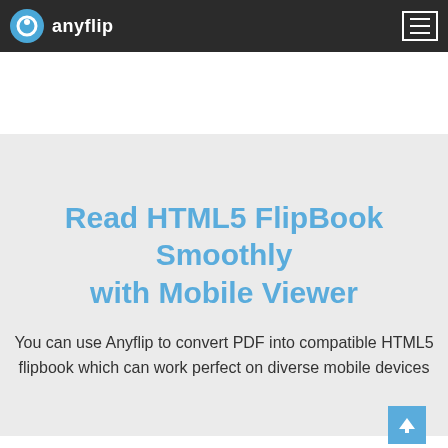anyflip
Read HTML5 FlipBook Smoothly with Mobile Viewer
You can use Anyflip to convert PDF into compatible HTML5 flipbook which can work perfect on diverse mobile devices
[Figure (screenshot): Partial white card/box area at bottom of page with a blue scroll-to-top arrow button in the lower right corner]